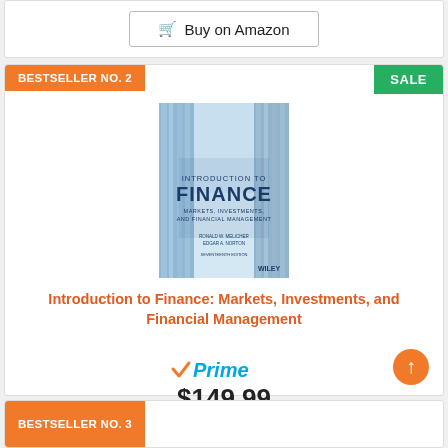[Figure (other): Buy on Amazon button (partial top of previous product card)]
BESTSELLER NO. 2
SALE
[Figure (photo): Book cover: Introduction to Finance: Markets, Investments, and Financial Management by Ronald W. Melicher and Edgar A. Norton, Seventeenth Edition, published by Wiley]
Introduction to Finance: Markets, Investments, and Financial Management
[Figure (logo): Amazon Prime logo with checkmark]
$149.99
[Figure (other): Buy on Amazon button]
BESTSELLER NO. 3